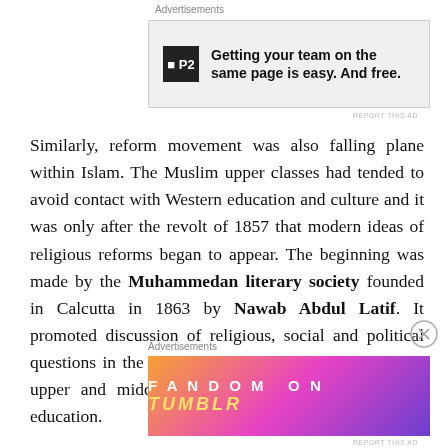[Figure (other): P2 advertisement banner: 'Getting your team on the same page is easy. And free.']
Similarly, reform movement was also falling plane within Islam. The Muslim upper classes had tended to avoid contact with Western education and culture and it was only after the revolt of 1857 that modern ideas of religious reforms began to appear. The beginning was made by the Muhammedan literary society founded in Calcutta in 1863 by Nawab Abdul Latif. It promoted discussion of religious, social and political questions in the light of modern ideas and encouraged upper and middle class Muslims to adopt Western education.
[Figure (other): Fandom on Tumblr advertisement banner with colorful gradient background]